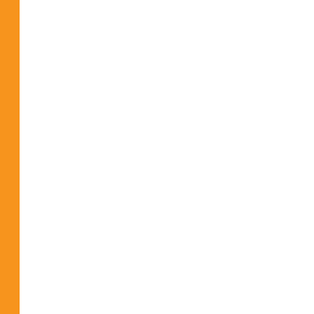musical genius, the other the cons up the most extravagant and fabu don't go quite as they imagined. S talents to survive, until they can be characters. Whimsical yet dark. To
SALVAGE THE BONES by Jesm
A pregnant teenager and her broth drunken father prepares for the up beautifully written award-winning Dog fighting, sick puppies, mothe love as devastation in the form of graphic and incredible page turner
SING, UNBURIED, SING by Jes
After I finished Salvage the Bones found it in this, her next novel. Am desolation. This time ghosts haunt stunning story of a drug-addicted w young biracial son trying to come and where he is going. Southern G